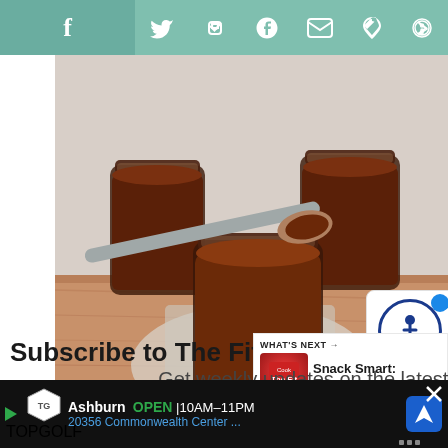Social sharing bar with icons: Facebook, Twitter, Pinterest, Email, Tumblr, Heart/Wishlist
[Figure (photo): Photo of chocolate pudding or caramel sauce in glass jars on a wooden cutting board, with a spoon scooping some out. Multiple jars visible in background.]
Subscribe to The Fit Co
Get weekly updates on the latest posts
WHAT'S NEXT → Snack Smart: Love With...
Ashburn OPEN 10AM–11PM 20356 Commonwealth Center ...